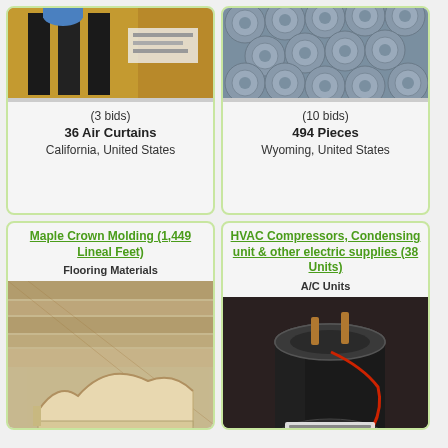[Figure (photo): Photo of air curtains stacked in boxes with black frames visible]
(3 bids)
36 Air Curtains
California, United States
[Figure (photo): Photo of gray PVC pipes stacked together]
(10 bids)
494 Pieces
Wyoming, United States
Maple Crown Molding (1,449 Lineal Feet)
Flooring Materials
[Figure (photo): Photo of maple crown molding pieces stacked, showing decorative wood profile]
HVAC Compressors, Condensing unit & other electric supplies (38 Units)
A/C Units
[Figure (photo): Photo of a black cylindrical HVAC compressor unit with red wiring]